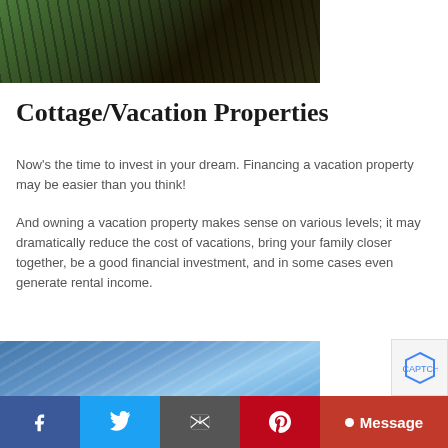[Figure (photo): Aerial view of a wooden dock or bridge structure surrounded by green trees, dark wood planks visible from above]
Cottage/Vacation Properties
Now's the time to invest in your dream. Financing a vacation property may be easier than you think!
And owning a vacation property makes sense on various levels; it may dramatically reduce the cost of vacations, bring your family closer together, be a good financial investment, and in some cases even generate rental income.
[Figure (photo): Partial view of blue sky and modern glass building facade from a low angle]
Social share bar: Facebook, Twitter, Email, Pinterest, Message